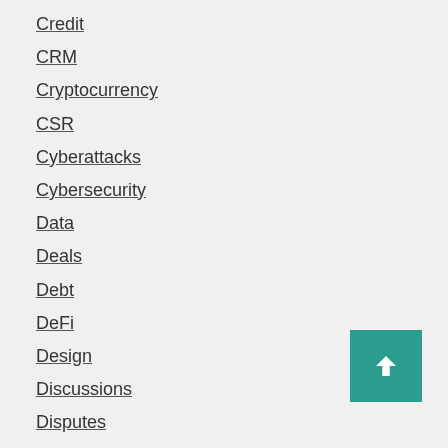Credit
CRM
Cryptocurrency
CSR
Cyberattacks
Cybersecurity
Data
Deals
Debt
DeFi
Design
Discussions
Disputes
Diversity
Documents
Dredging
eCommerce